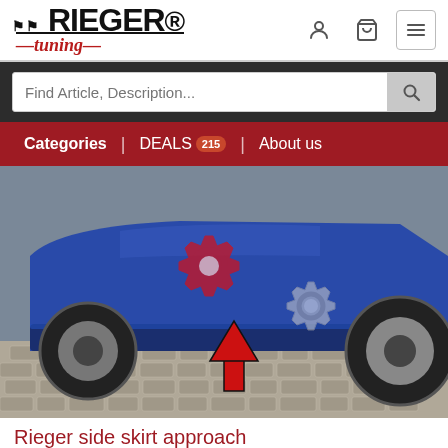[Figure (logo): Rieger Tuning logo with checkered flag pattern]
Find Article, Description...
Categories | DEALS 215 | About us
[Figure (photo): Blue car side skirt with two overlaid gear icons and a red upward arrow pointing to the side skirt area. Cobblestone ground visible.]
Rieger side skirt approach